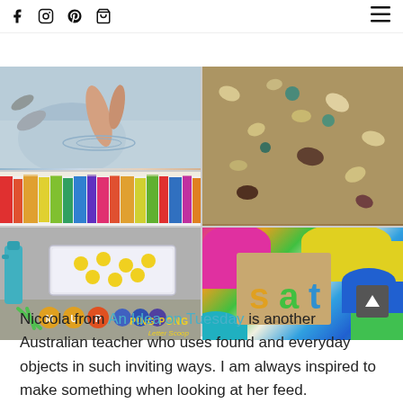f [instagram] p [cart] [menu]
[Figure (photo): A 2x3 grid of photos showing: top-left hands in water, top-right shells and sand, mid-left colorful books on a shelf, bottom-left ping pong letter scoop activity with yellow balls and letter pieces, bottom-right colorful cups with a cardboard card reading 'sat' in colored letters]
Niccola from An Idea on Tuesday is another Australian teacher who uses found and everyday objects in such inviting ways. I am always inspired to make something when looking at her feed.